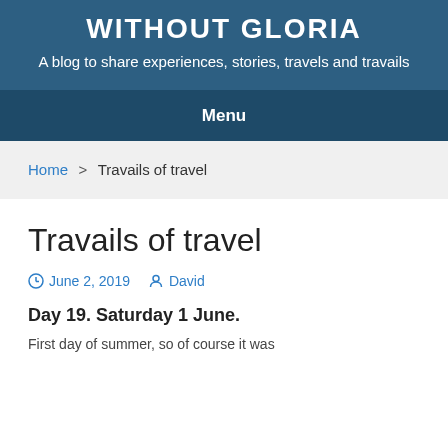WITHOUT GLORIA
A blog to share experiences, stories, travels and travails
Menu
Home > Travails of travel
Travails of travel
June 2, 2019   David
Day 19. Saturday 1 June.
First day of summer, so of course it was...